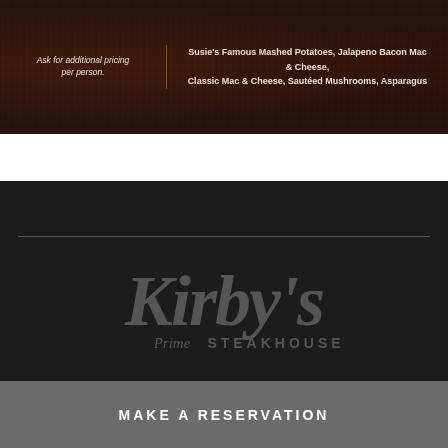Ask for additional pricing per person.
Susie's Famous Mashed Potatoes, Jalapeno Bacon Mac & Cheese, Classic Mac & Cheese, Sautéed Mushrooms, Asparagus
[Figure (logo): Kirby's Prime Steakhouse logo in dark grey on dark background]
MAKE A RESERVATION